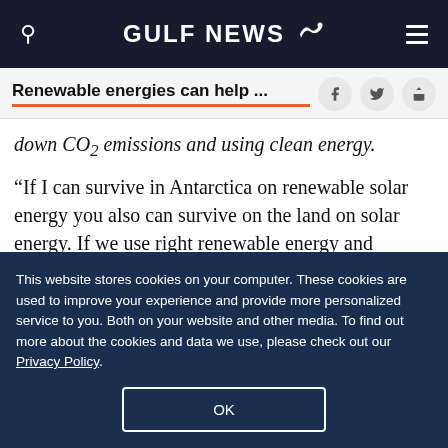GULF NEWS
Renewable energies can help ...
down CO2 emissions and using clean energy.
“If I can survive in Antarctica on renewable solar energy you also can survive on the land on solar energy. If we use right renewable energy and biofuels and it will be great for our planet. I have seen lots of ice is breaking in Antarctica, we have to
This website stores cookies on your computer. These cookies are used to improve your experience and provide more personalized service to you. Both on your website and other media. To find out more about the cookies and data we use, please check out our Privacy Policy.